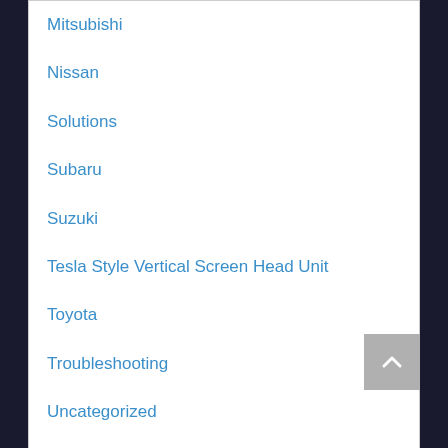Mitsubishi
Nissan
Solutions
Subaru
Suzuki
Tesla Style Vertical Screen Head Unit
Toyota
Troubleshooting
Uncategorized
User Manual
Volkswagen
Recent Posts
Lexus GS350 Aftermarket Stereo GS300 Andorid Tesla Style Screen Upgrade
2013-2018 Toyota RAV4 Radio Stereo Upgrade – How to Install?
10.25" Lexus RC F HD Touch Screen Upgrade Replacement Apple Carplay Android Auto